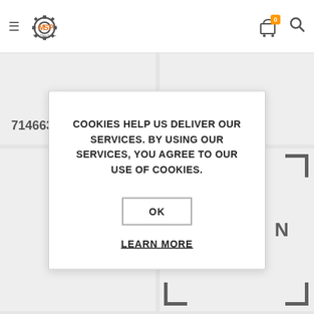[Figure (screenshot): MSP (M&S Plant Spares) website header with hamburger menu, MSP gear logo, shopping cart icon with badge showing 0, and search icon]
71466375
71468092
71468093
71468099
COOKIES HELP US DELIVER OUR SERVICES. BY USING OUR SERVICES, YOU AGREE TO OUR USE OF COOKIES.

OK

LEARN MORE